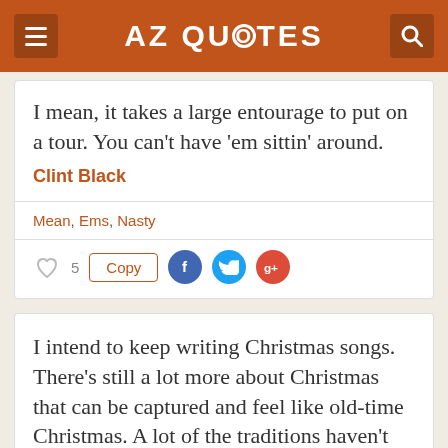AZ QUOTES
I mean, it takes a large entourage to put on a tour. You can't have 'em sittin' around.
Clint Black
Mean, Ems, Nasty
♡  5   Copy
I intend to keep writing Christmas songs. There's still a lot more about Christmas that can be captured and feel like old-time Christmas. A lot of the traditions haven't been explained in song.